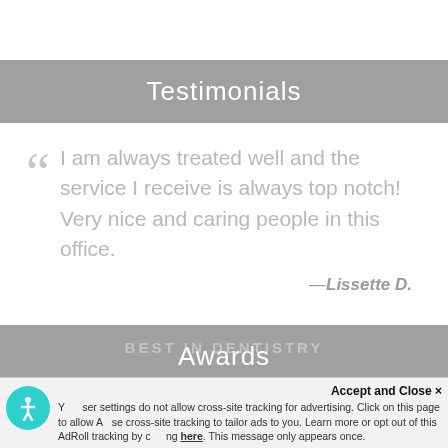Testimonials
I am always treated well and the service I receive is always top notch! Very nice and caring people in this office.
—Lissette D.
Awards
Your browser settings do not allow cross-site tracking for advertising. Click on this page to allow AdRoll to use cross-site tracking to tailor ads to you. Learn more or opt out of this AdRoll tracking by clicking here. This message only appears once.